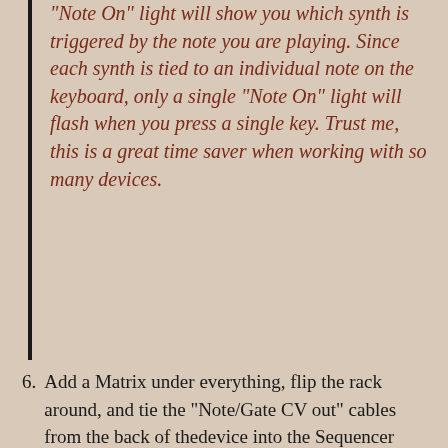“Note On” light will show you which synth is triggered by the note you are playing. Since each synth is tied to an individual note on the keyboard, only a single “Note On” light will flash when you press a single key. Trust me, this is a great time saver when working with so many devices.
6. Add a Matrix under everything, flip the rack around, and tie the “Note/Gate CV out” cables from the back of thedevice into the Sequencer Control “Note/Gate CV in” on the Combinator. Flip back around to the front again and start dialing in some Note/Gate